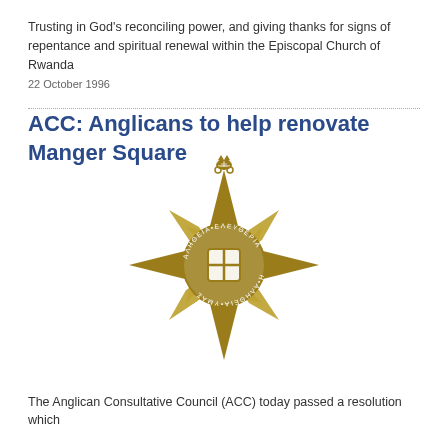Trusting in God's reconciling power, and giving thanks for signs of repentance and spiritual renewal within the Episcopal Church of Rwanda
22 October 1996
ACC: Anglicans to help renovate Manger Square
[Figure (logo): Anglican Consultative Council compass rose logo in gold, featuring a cross with a shield at center surrounded by a circular text band, with decorative compass points and a bishop's mitre at the top]
The Anglican Consultative Council (ACC) today passed a resolution which